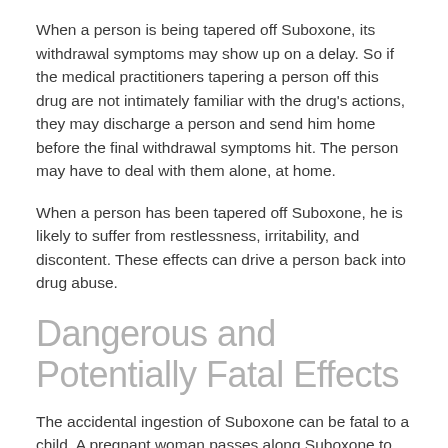When a person is being tapered off Suboxone, its withdrawal symptoms may show up on a delay. So if the medical practitioners tapering a person off this drug are not intimately familiar with the drug's actions, they may discharge a person and send him home before the final withdrawal symptoms hit. The person may have to deal with them alone, at home.
When a person has been tapered off Suboxone, he is likely to suffer from restlessness, irritability, and discontent. These effects can drive a person back into drug abuse.
Dangerous and Potentially Fatal Effects
The accidental ingestion of Suboxone can be fatal to a child. A pregnant woman passes along Suboxone to